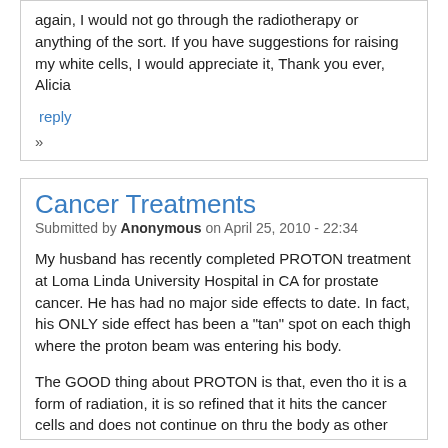again, I would not go through the radiotherapy or anything of the sort. If you have suggestions for raising my white cells, I would appreciate it, Thank you ever,
Alicia
reply
»
Cancer Treatments
Submitted by Anonymous on April 25, 2010 - 22:34
My husband has recently completed PROTON treatment at Loma Linda University Hospital in CA for prostate cancer. He has had no major side effects to date. In fact, his ONLY side effect has been a "tan" spot on each thigh where the proton beam was entering his body.
The GOOD thing about PROTON is that, even tho it is a form of radiation, it is so refined that it hits the cancer cells and does not continue on thru the body as other types of radiation do.
This is NOT a NEW treatment. Loma Linda has been performing this treatment for over 20yrs now - they did research and preliminary procedures before that. OF all the